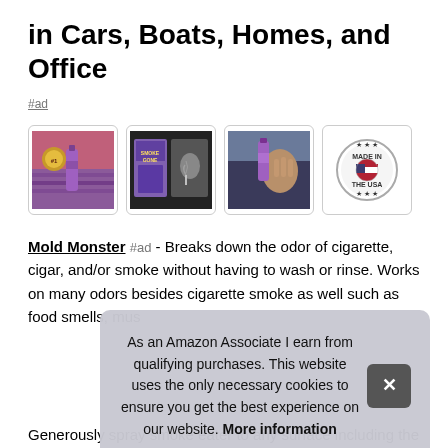in Cars, Boats, Homes, and Office
#ad
[Figure (photo): Four product thumbnail images: 1) Smoke odor eliminator spray bottle with lavender field background, 2) Smoke Gone product packaging with man smoking, 3) Purple spray bottle held in car, 4) Made in the USA seal/badge]
Mold Monster #ad - Breaks down the odor of cigarette, cigar, and/or smoke without having to wash or rinse. Works on many odors besides cigarette smoke as well such as food smells, mus...
Perf... on a... of a...
Generously spray smoke eater to any surface including the
As an Amazon Associate I earn from qualifying purchases. This website uses the only necessary cookies to ensure you get the best experience on our website. More information